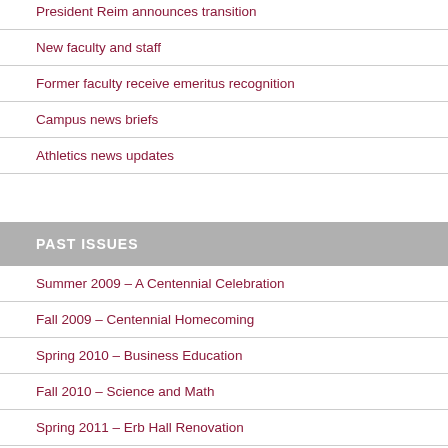President Reim announces transition
New faculty and staff
Former faculty receive emeritus recognition
Campus news briefs
Athletics news updates
PAST ISSUES
Summer 2009 – A Centennial Celebration
Fall 2009 – Centennial Homecoming
Spring 2010 – Business Education
Fall 2010 – Science and Math
Spring 2011 – Erb Hall Renovation
Summer 2011 – Number 2